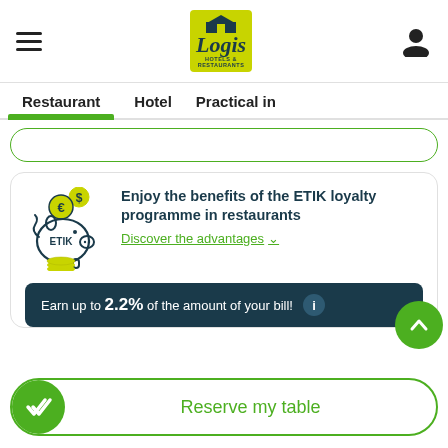[Figure (logo): Logis Hotels & Restaurants logo on yellow-green background]
Restaurant | Hotel | Practical in
[Figure (illustration): ETIK piggy bank illustration with euro and dollar coins]
Enjoy the benefits of the ETIK loyalty programme in restaurants
Discover the advantages
Earn up to 2.2% of the amount of your bill!
Reserve my table